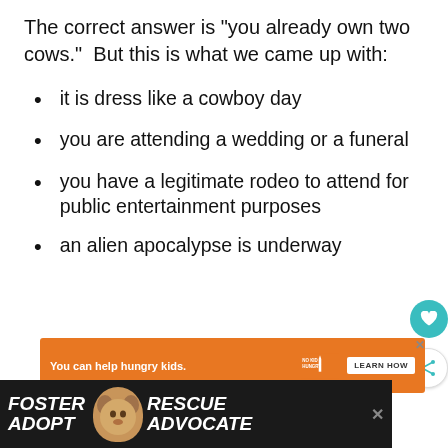The correct answer is "you already own two cows."  But this is what we came up with:
it is dress like a cowboy day
you are attending a wedding or a funeral
you have a legitimate rodeo to attend for public entertainment purposes
an alien apocalypse is underway
[Figure (other): Orange advertisement banner: 'You can help hungry kids.' with No Kid Hungry logo and 'LEARN HOW' button]
[Figure (other): Dark footer advertisement banner: Foster Adopt with dog image, Rescue Advocate text]